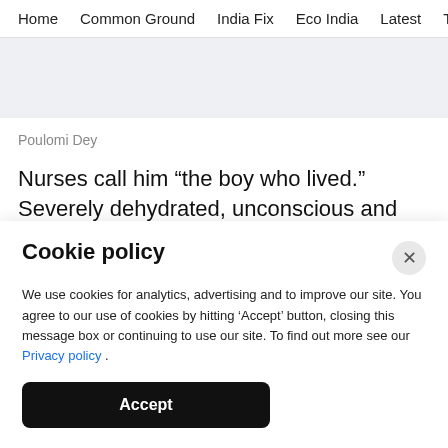Home   Common Ground   India Fix   Eco India   Latest   Th
Poulomi Dey
Nurses call him “the boy who lived.” Severely dehydrated, unconscious and weighing no more than two kilos, lighter than a healthy new born
Cookie policy
We use cookies for analytics, advertising and to improve our site. You agree to our use of cookies by hitting ‘Accept’ button, closing this message box or continuing to use our site. To find out more see our Privacy policy .
Accept